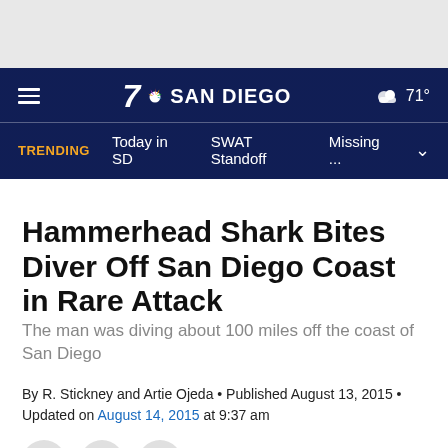7 NBC SAN DIEGO — TRENDING: Today in SD | SWAT Standoff | Missing... | 71°
Hammerhead Shark Bites Diver Off San Diego Coast in Rare Attack
The man was diving about 100 miles off the coast of San Diego
By R. Stickney and Artie Ojeda • Published August 13, 2015 • Updated on August 14, 2015 at 9:37 am